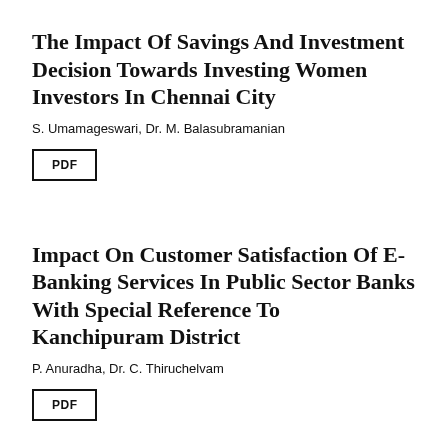The Impact Of Savings And Investment Decision Towards Investing Women Investors In Chennai City
S. Umamageswari, Dr. M. Balasubramanian
[Figure (other): PDF button — a rectangle with the label PDF inside]
Impact On Customer Satisfaction Of E-Banking Services In Public Sector Banks With Special Reference To Kanchipuram District
P. Anuradha, Dr. C. Thiruchelvam
[Figure (other): PDF button — a rectangle with the label PDF inside]